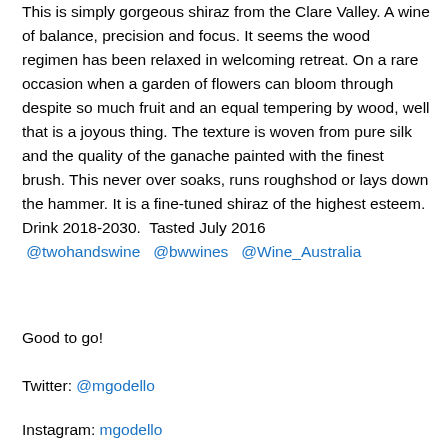This is simply gorgeous shiraz from the Clare Valley. A wine of balance, precision and focus. It seems the wood regimen has been relaxed in welcoming retreat. On a rare occasion when a garden of flowers can bloom through despite so much fruit and an equal tempering by wood, well that is a joyous thing. The texture is woven from pure silk and the quality of the ganache painted with the finest brush. This never over soaks, runs roughshod or lays down the hammer. It is a fine-tuned shiraz of the highest esteem. Drink 2018-2030.  Tasted July 2016 @twohandswine  @bwwines  @Wine_Australia
Good to go!
Twitter: @mgodello
Instagram: mgodello